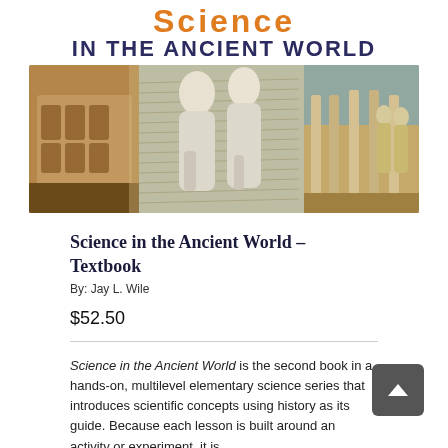Science IN THE ANCIENT WORLD
[Figure (photo): Collage banner image showing the Roman Colosseum, classical Greek/Roman marble statues of two philosophers, ancient Greek architectural columns, with manuscript text overlaid in background]
Science in the Ancient World – Textbook
By: Jay L. Wile
$52.50
Science in the Ancient World is the second book in a hands-on, multilevel elementary science series that introduces scientific concepts using history as its guide. Because each lesson is built around an activity or experiment, it is